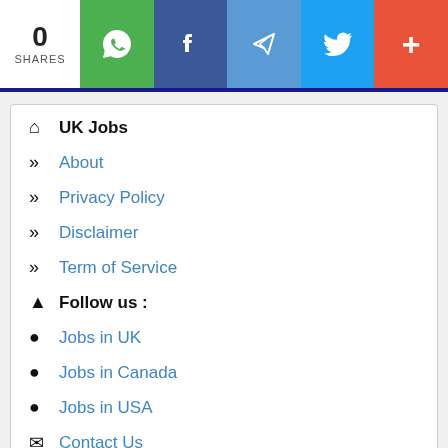0 SHARES | WhatsApp | Facebook | Telegram | Twitter | +
🏠 UK Jobs
» About
» Privacy Policy
» Disclaimer
» Term of Service
🔔 Follow us :
👤 Jobs in UK
👤 Jobs in Canada
👤 Jobs in USA
✉ Contact Us
ℹ Disclaimer : We are not responsible for the overall advertising materials that seem on this site. All advertising materials contained on this site is the each advertiser responsibility. For jobs removal, please Contact Us - 0.002 s.
Online  1